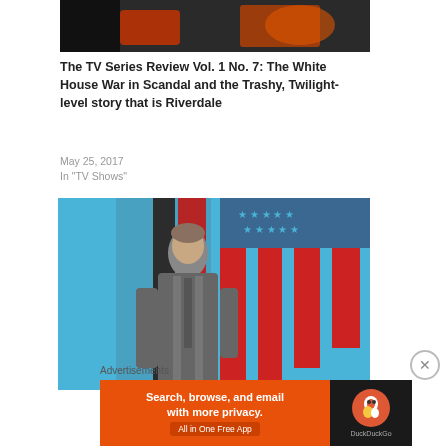[Figure (photo): Top partial image showing a dark/orange background, appears to be from a TV show promotional image]
The TV Series Review Vol. 1 No. 7: The White House War in Scandal and the Trashy, Twilight-level story that is Riverdale
May 25, 2017
In "TV Shows"
[Figure (photo): Promotional image for a TV show featuring a man in a gray suit standing against a stylized American flag background with blue and red vertical stripes on a light blue background]
Advertisements
[Figure (screenshot): DuckDuckGo advertisement banner: orange background with text 'Search, browse, and email with more privacy. All in One Free App' and DuckDuckGo logo on dark background]